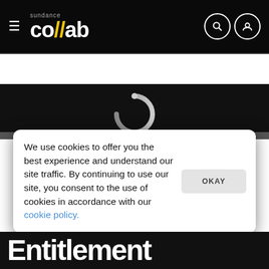[Figure (logo): Sundance Collab logo with yellow double-slash between 'co' and 'ab' on black background, with hamburger menu icon on left and search/user icons on right]
< PREVIOUS    NEXT >
[Figure (screenshot): Dark black content area with a partial loading spinner (ring shape) visible]
We use cookies to offer you the best experience and understand our site traffic. By continuing to use our site, you consent to the use of cookies in accordance with our cookie policy.
Entitlement